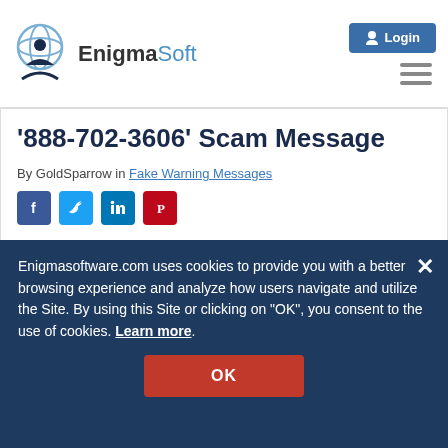EnigmaSoft — Login
'888-702-3606' Scam Message
By GoldSparrow in Fake Warning Messages
[Figure (other): Social sharing icons: Facebook, Twitter, LinkedIn, Pinterest]
Threat Scorecard
Enigmasoftware.com uses cookies to provide you with a better browsing experience and analyze how users navigate and utilize the Site. By using this Site or clicking on "OK", you consent to the use of cookies. Learn more.